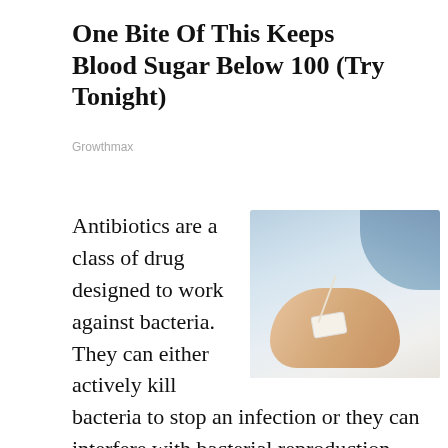One Bite Of This Keeps Blood Sugar Below 100 (Try Tonight)
Growthmax
[Figure (photo): A patient's hand with an IV drip taped to the back of the hand, resting on a white surface. The patient appears to be wearing a blue hospital gown.]
Antibiotics are a class of drug designed to work against bacteria. They can either actively kill bacteria to stop an infection or they can interfere with bacterial reproduction, making it difficult for an infection to spread. As generations of the organisms die, the infection is gradually brought under control. Some drugs are broad spectrum and will work